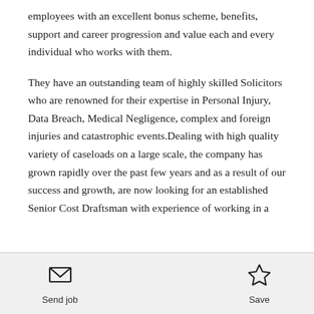employees with an excellent bonus scheme, benefits, support and career progression and value each and every individual who works with them.
They have an outstanding team of highly skilled Solicitors who are renowned for their expertise in Personal Injury, Data Breach, Medical Negligence, complex and foreign injuries and catastrophic events.Dealing with high quality variety of caseloads on a large scale, the company has grown rapidly over the past few years and as a result of our success and growth, are now looking for an established Senior Cost Draftsman with experience of working in a
Send job | Save